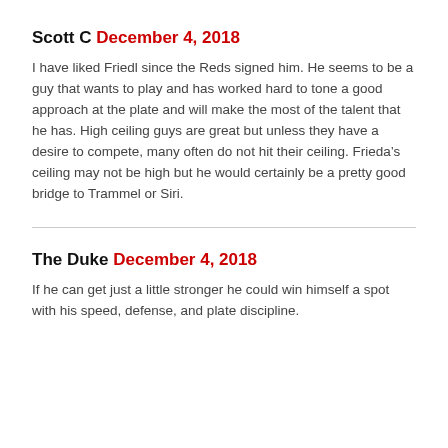Scott C December 4, 2018
I have liked Friedl since the Reds signed him. He seems to be a guy that wants to play and has worked hard to tone a good approach at the plate and will make the most of the talent that he has. High ceiling guys are great but unless they have a desire to compete, many often do not hit their ceiling. Frieda’s ceiling may not be high but he would certainly be a pretty good bridge to Trammel or Siri.
The Duke December 4, 2018
If he can get just a little stronger he could win himself a spot with his speed, defense, and plate discipline.